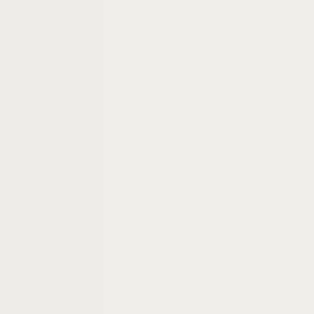to understand is that unlike Trump, Elon Musk has actually done a great deal of useful work to